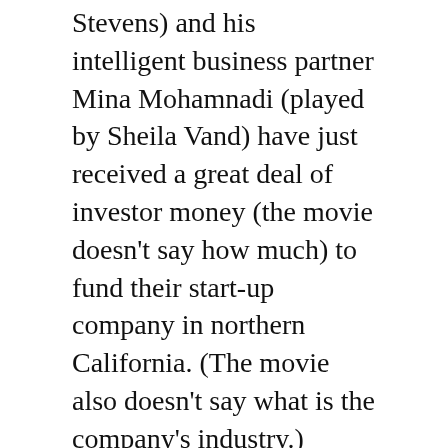Stevens) and his intelligent business partner Mina Mohamnadi (played by Sheila Vand) have just received a great deal of investor money (the movie doesn't say how much) to fund their start-up company in northern California. (The movie also doesn't say what is the company's industry.)
Mina is dating Charlie's troubled younger brother Josh (played by Jeremy Allen White), while Charlie is married to loving and supportive Michelle (played by Alison Brie, who is married to Franco in real life). They all live far-enough away in California from the rental house in Oregon, that their road trip takes several hours to get there.
The dynamics between these two couples are established early on in the story, so viewers know about the underlying tensions in the relationships. Before they go on their road trip, Charlie and Michelle discuss Mina